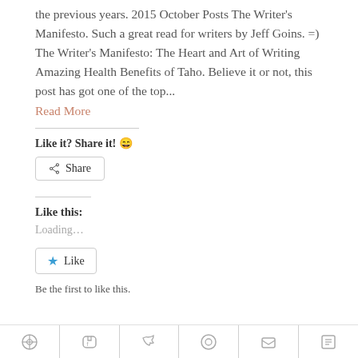the previous years. 2015 October Posts The Writer's Manifesto. Such a great read for writers by Jeff Goins. =) The Writer's Manifesto: The Heart and Art of Writing Amazing Health Benefits of Taho. Believe it or not, this post has got one of the top...
Read More
Like it? Share it! 😄
Share
Like this:
Loading...
Like
Be the first to like this.